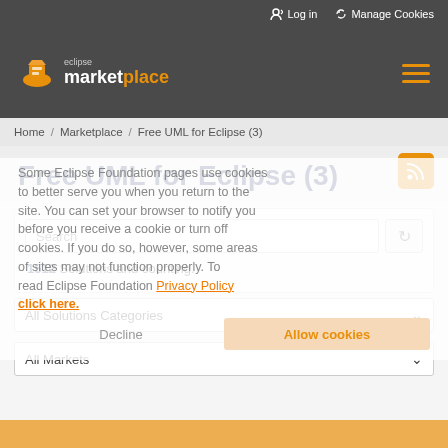Log in  Manage Cookies
[Figure (logo): Eclipse Marketplace logo with orange icon and text]
Home / Marketplace / Free UML for Eclipse (3)
Free UML for Eclipse (3)
Some Eclipse Foundation pages use cookies to better serve you when you return to the site. You can set your browser to notify you before you receive a cookie or turn off cookies. If you do so, however, some areas of sites may not function properly. To read Eclipse Foundation Privacy Policy click here.
1512 Solutions and counting.
All Solutions Categories
All Markets